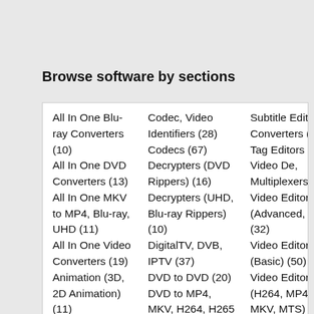Browse software by sections
All In One Blu-ray Converters (10)
All In One DVD Converters (13)
All In One MKV to MP4, Blu-ray, UHD (11)
All In One Video Converters (19)
Animation (3D, 2D Animation) (11)
Audio Editors (21)
Audio Encoders (81)
Audio Players (17)
Authoring (Blu-ray, UHD, AVCHD) (16)
Authoring (DivX) (4)
Codec, Video Identifiers (28)
Codecs (67)
Decrypters (DVD Rippers) (16)
Decrypters (UHD, Blu-ray Rippers) (10)
DigitalTV, DVB, IPTV (37)
DVD to DVD (20)
DVD to MP4, MKV, H264, H265 (16)
DVD to VCD, SVCD (5)
DVD to XviD, AVI, DivX (16)
ISO, Image (16)
Linux Video Tools (171)
MacOS Video
Subtitle Editors, Converters (71)
Tag Editors (3)
Video De, Multiplexers (62)
Video Editors (Advanced, NLE) (32)
Video Editors (Basic) (50)
Video Editors (H264, MP4, MKV, MTS) (19)
Video Editors (MPG, DVD) (16)
Video Editors (WMV, AVI) (16)
Video Encoders (AV1, VP8, VP9) (2)
Video Encoders (AVI, WMV) (30)